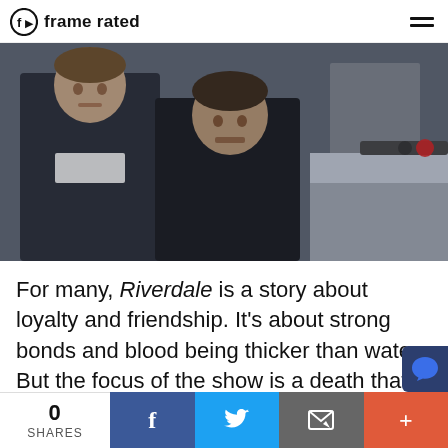frame rated
[Figure (photo): Two men standing side by side outdoors near a police car with lights on. The younger man on the left wears a dark jacket; the older man in the center wears a black top. Background figure visible. Scene appears to be from the TV show Riverdale.]
For many, Riverdale is a story about loyalty and friendship. It's about strong bonds and blood being thicker than water. But the focus of the show is a death that shakes up the townsfolk, and which
0 SHARES | Facebook | Twitter | Email | +